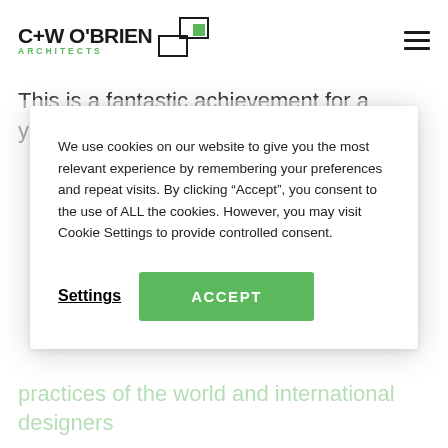[Figure (logo): C+W O'BRIEN ARCHITECTS logo with geometric square icon in green and black, and hamburger menu icon on the right]
This is a fantastic achievement for a young Irish
We use cookies on our website to give you the most relevant experience by remembering your preferences and repeat visits. By clicking “Accept”, you consent to the use of ALL the cookies. However, you may visit Cookie Settings to provide controlled consent.
Settings   ACCEPT
practices of the world and international designers